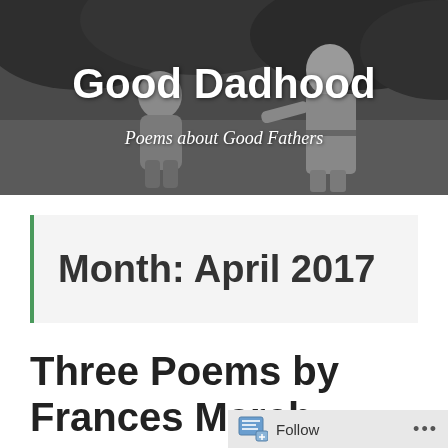[Figure (photo): Black and white photograph of a man and a young child outdoors near bushes, used as the website header background]
Good Dadhood
Poems about Good Fathers
Month: April 2017
Three Poems by Frances March